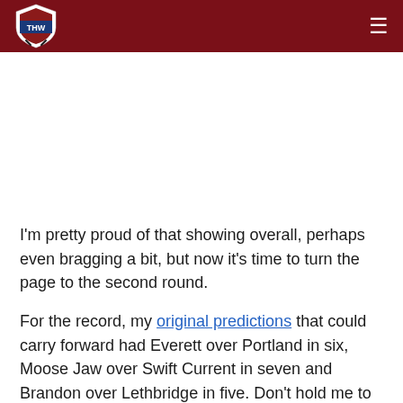THW logo and navigation menu
I'm pretty proud of that showing overall, perhaps even bragging a bit, but now it's time to turn the page to the second round.
For the record, my original predictions that could carry forward had Everett over Portland in six, Moose Jaw over Swift Current in seven and Brandon over Lethbridge in five. Don't hold me to